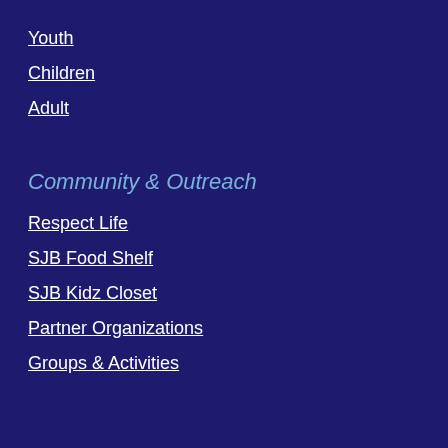Youth
Children
Adult
Community & Outreach
Respect Life
SJB Food Shelf
SJB Kidz Closet
Partner Organizations
Groups & Activities